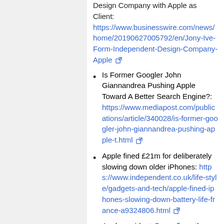Design Company with Apple as Client: https://www.businesswire.com/news/home/20190627005792/en/Jony-Ive-Form-Independent-Design-Company-Apple
Is Former Googler John Giannandrea Pushing Apple Toward A Better Search Engine?: https://www.mediapost.com/publications/article/340028/is-former-googler-john-giannandrea-pushing-apple-t.html
Apple fined £21m for deliberately slowing down older iPhones: https://www.independent.co.uk/life-style/gadgets-and-tech/apple-fined-iphones-slowing-down-battery-life-france-a9324806.html
Apple accidentally confirms the